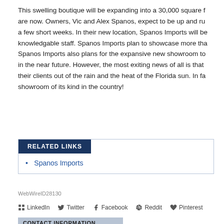This swelling boutique will be expanding into a 30,000 square f are now. Owners, Vic and Alex Spanos, expect to be up and ru a few short weeks. In their new location, Spanos Imports will be knowledgable staff. Spanos Imports plan to showcase more tha Spanos Imports also plans for the expansive new showroom to in the near future. However, the most exiting news of all is that their clients out of the rain and the heat of the Florida sun. In fa showroom of its kind in the country!
RELATED LINKS
Spanos Imports
WebWireID28130
LinkedIn  Twitter  Facebook  Reddit  Pinterest
CONTACT INFORMATION